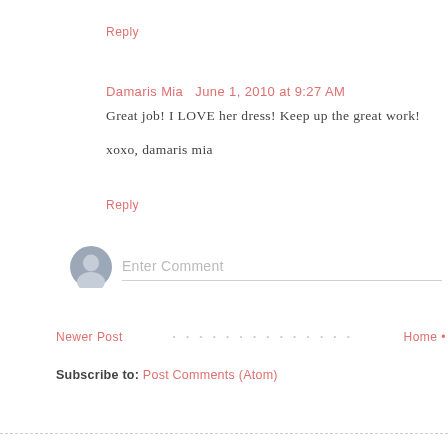Reply
Damaris Mia  June 1, 2010 at 9:27 AM
Great job! I LOVE her dress! Keep up the great work!

xoxo, damaris mia
Reply
[Figure (illustration): Generic user avatar icon — a silhouette of a person in a blue-grey circle]
Enter Comment
Newer Post • • • • • • • • • • • • • Home •
Subscribe to: Post Comments (Atom)